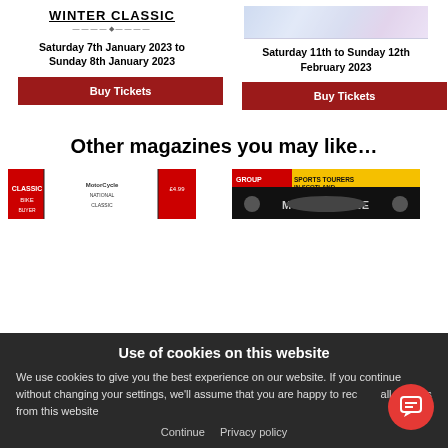WINTER CLASSIC
Saturday 7th January 2023 to Sunday 8th January 2023
Buy Tickets
[Figure (photo): Partial image of a vehicle or event, faded/cropped at top right]
Saturday 11th to Sunday 12th February 2023
Buy Tickets
Other magazines you may like…
[Figure (photo): Magazine cover with yellow and red banner, motorsport content]
[Figure (photo): Magazine cover with yellow banner reading SPORTS TOURERS IN SCOTLAND, motorcycles]
Use of cookies on this website
We use cookies to give you the best experience on our website. If you continue without changing your settings, we'll assume that you are happy to receive all cookies from this website
Continue    Privacy policy